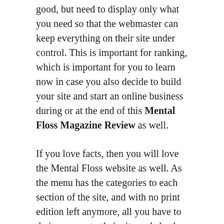good, but need to display only what you need so that the webmaster can keep everything on their site under control. This is important for ranking, which is important for you to learn now in case you also decide to build your site and start an online business during or at the end of this Mental Floss Magazine Review as well.
If you love facts, then you will love the Mental Floss website as well. As the menu has the categories to each section of the site, and with no print edition left anymore, all you have to do is on over to their site and check them out.
Overall
Now with everything having been spoken about